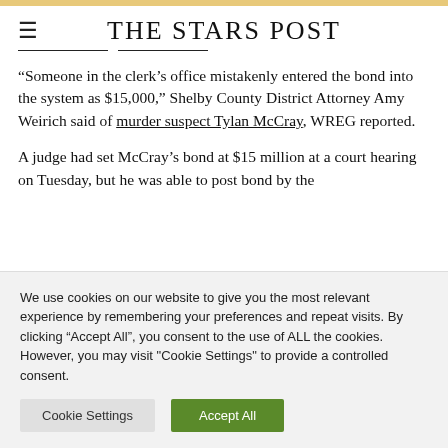THE STARS POST
“Someone in the clerk’s office mistakenly entered the bond into the system as $15,000,” Shelby County District Attorney Amy Weirich said of murder suspect Tylan McCray, WREG reported.
A judge had set McCray’s bond at $15 million at a court hearing on Tuesday, but he was able to post bond by the
We use cookies on our website to give you the most relevant experience by remembering your preferences and repeat visits. By clicking “Accept All”, you consent to the use of ALL the cookies. However, you may visit "Cookie Settings" to provide a controlled consent.